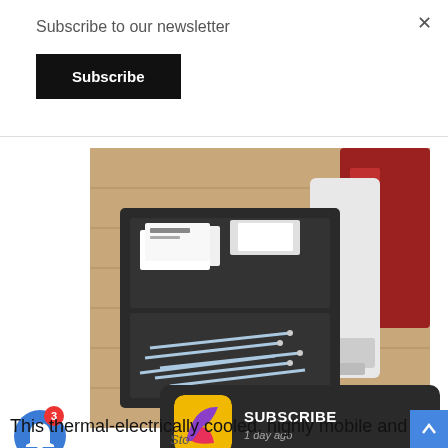Subscribe to our newsletter
Subscribe
[Figure (photo): A medical supply kit open on a wooden floor showing syringes in a tray, medication boxes, and a white device, with a red bag visible on the right.]
Sto...
[Figure (screenshot): Dark subscribe notification card with colorful app icon on the left showing SUBSCRIBE text and '1 day ago' timestamp]
This thermal-electrically cooled, highly mobile and rugged